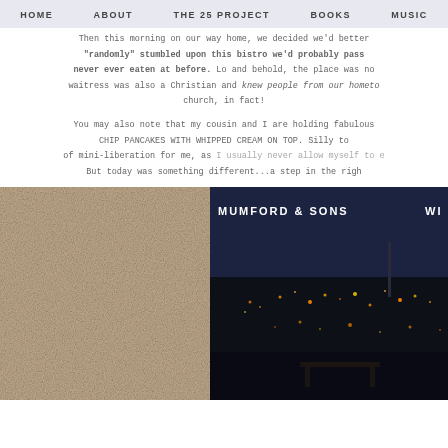HOME | ABOUT | THE 25 PROJECT | BOOKS | MUSIC
Then this morning on our way home, we decided we'd better "randomly" stumbled upon this bistro we'd probably pass never ever eaten at before. Lo and behold, the place was no waitress was also a Christian and knew people from our hometown church, in fact!
You may also note that my cousin and I are holding fabulous CHIP PANCAKES WITH WHIPPED CREAM ON TOP. Silly to of mini-liberation for me, as I usually never allow myself to e But today was something different...a step in the right
[Figure (photo): Photo showing a textured surface and a Mumford & Sons album cover with a nighttime cityscape]